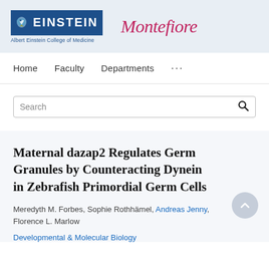[Figure (logo): Albert Einstein College of Medicine logo with blue box containing eagle icon and EINSTEIN text, with subtitle 'Albert Einstein College of Medicine']
[Figure (logo): Montefiore logo in pink/crimson italic serif font]
Home   Faculty   Departments   ...
Search
Maternal dazap2 Regulates Germ Granules by Counteracting Dynein in Zebrafish Primordial Germ Cells
Meredyth M. Forbes, Sophie Rothhämel, Andreas Jenny, Florence L. Marlow
Developmental & Molecular Biology